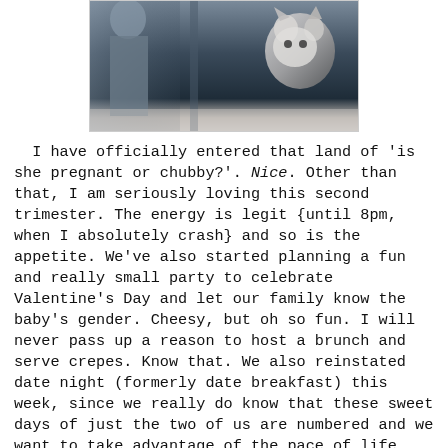[Figure (photo): A partially visible photograph showing what appears to be a person and a cat near a doorway or wall, in dark tones.]
I have officially entered that land of 'is she pregnant or chubby?'. Nice. Other than that, I am seriously loving this second trimester. The energy is legit {until 8pm, when I absolutely crash} and so is the appetite. We've also started planning a fun and really small party to celebrate Valentine's Day and let our family know the baby's gender. Cheesy, but oh so fun. I will never pass up a reason to host a brunch and serve crepes. Know that. We also reinstated date night (formerly date breakfast) this week, since we really do know that these sweet days of just the two of us are numbered and we want to take advantage of the pace of life right now before it changes. And really,